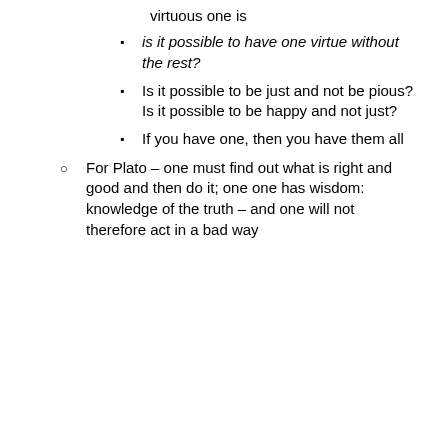virtuous one is
is it possible to have one virtue without the rest?
Is it possible to be just and not be pious? Is it possible to be happy and not just?
If you have one, then you have them all
For Plato – one must find out what is right and good and then do it; one one has wisdom: knowledge of the truth – and one will not therefore act in a bad way